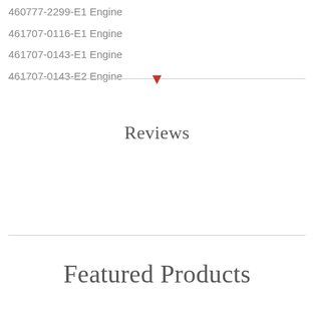460777-2299-E1 Engine
461707-0116-E1 Engine
461707-0143-E1 Engine
461707-0143-E2 Engine
Reviews
Featured Products